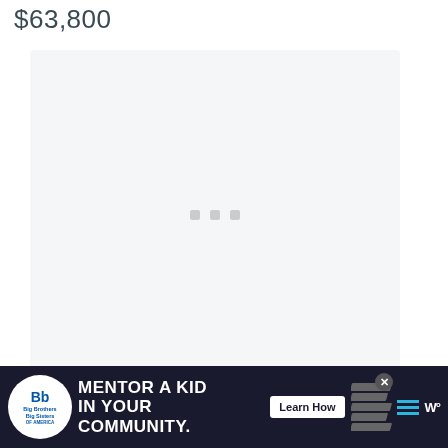$63,800
[Figure (photo): Large image placeholder area with light gray background and three small gray square dots in the center, indicating a loading or empty image carousel.]
[Figure (other): Floating action buttons on the right side: a blue circle with a heart icon, a white circle showing the number 7, and a white circle with a share icon.]
[Figure (other): Advertisement banner at the bottom: Big Brothers Big Sisters logo, text 'MENTOR A KID IN YOUR COMMUNITY.' with a 'Learn How' button, decorative stripes, and a W logo. Dark navy background.]